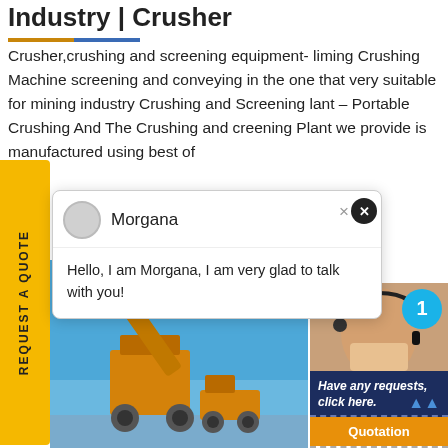Industry | Crusher
Crusher,crushing and screening equipment- liming Crushing Machine screening and conveying in the one that very suitable for mining industry Crushing and Screening lant – Portable Crushing And The Crushing and creening Plant we provide is manufactured using best of
[Figure (screenshot): Chat popup with Morgana avatar, greeting message, close buttons]
Morgana
Hello, I am Morgana, I am very glad to talk with you!
[Figure (photo): Yellow sidebar with REQUEST A QUOTE text, mining crusher machinery photo with blue sky background, agent photo with headset, Have any requests click here panel, Quotation button, badge with number 1]